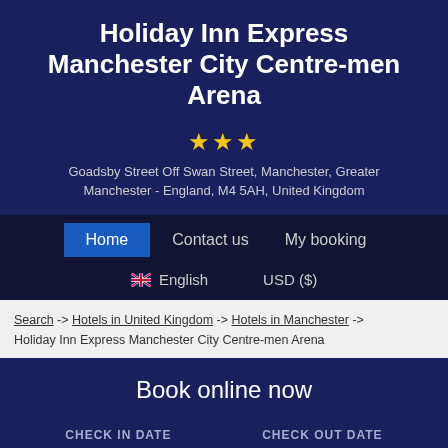Holiday Inn Express Manchester City Centre-men Arena
★★★
Goadsby Street Off Swan Street, Manchester, Greater Manchester - England, M4 5AH, United Kingdom
Home   Contact us   My booking
🇬🇧 English   USD ($)
Search -> Hotels in United Kingdom -> Hotels in Manchester -> Holiday Inn Express Manchester City Centre-men Arena
Book online now
CHECK IN DATE   CHECK OUT DATE